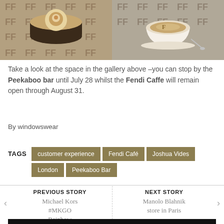[Figure (photo): Two photos side by side: left shows a decorated cake/dessert with Fendi FF monogram pattern; right shows a cappuccino/latte art coffee on Fendi FF monogram surface.]
Take a look at the space in the gallery above –you can stop by the Peekaboo bar until July 28 whilst the Fendi Caffe will remain open through August 31.
By windowswear
TAGS  customer experience  Fendi Café  Joshua Vides  London  Peekaboo Bar
PREVIOUS STORY
Michael Kors #MKGO Rainbow capsule
NEXT STORY
Manolo Blahnik store in Paris